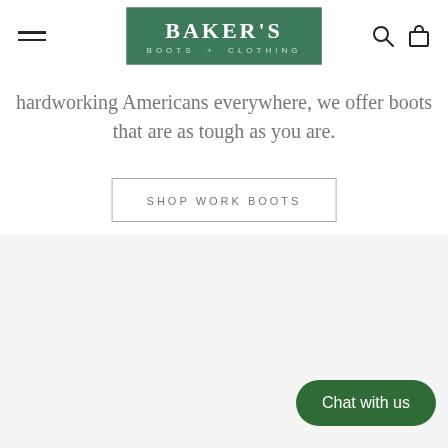[Figure (logo): Baker's Boots + Clothing logo in green rectangle with white text]
hardworking Americans everywhere, we offer boots that are as tough as you are.
SHOP WORK BOOTS
[Figure (other): Light gray background section, largely empty]
Chat with us